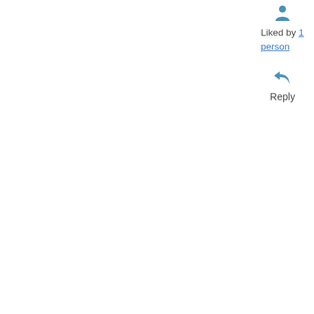[Figure (other): Person/like icon (small avatar silhouette in blue/teal color)]
Liked by 1 person
[Figure (other): Reply arrow icon pointing left, in blue/teal color]
Reply